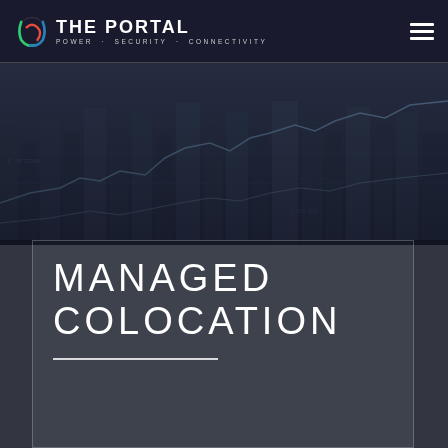THE PORTAL · POWER · SECURITY · CONNECTIVITY
[Figure (photo): Dark financial/data center background image showing stock chart lines and digital data displays with a blue-grey tone]
MANAGED COLOCATION